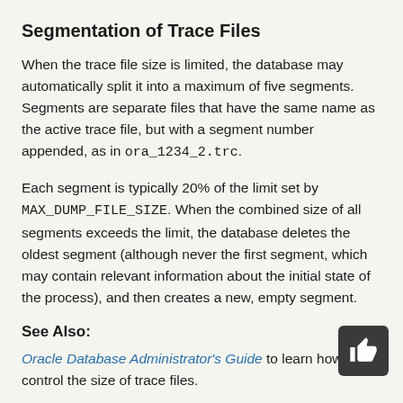Segmentation of Trace Files
When the trace file size is limited, the database may automatically split it into a maximum of five segments. Segments are separate files that have the same name as the active trace file, but with a segment number appended, as in ora_1234_2.trc.
Each segment is typically 20% of the limit set by MAX_DUMP_FILE_SIZE. When the combined size of all segments exceeds the limit, the database deletes the oldest segment (although never the first segment, which may contain relevant information about the initial state of the process), and then creates a new, empty segment.
See Also:
Oracle Database Administrator's Guide to learn how control the size of trace files.